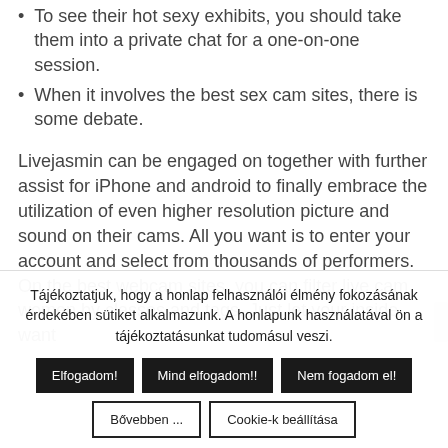To see their hot sexy exhibits, you should take them into a private chat for a one-on-one session.
When it involves the best sex cam sites, there is some debate.
Livejasmin can be engaged on together with further assist for iPhone and android to finally embrace the utilization of even higher resolution picture and sound on their cams. All you want is to enter your account and select from thousands of performers. On the best webcam sites, you can filter live cam women by classes and tags. Just let your inside want
Tájékoztatjuk, hogy a honlap felhasználói élmény fokozásának érdekében sütiket alkalmazunk. A honlapunk használatával ön a tájékoztatásunkat tudomásul veszi.